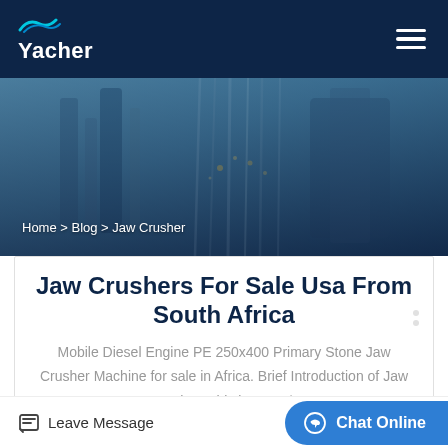Yacher
[Figure (photo): Industrial machinery background photo showing metal components with sparks or drill bits, blurred/bokeh style in blue tones]
Home > Blog > Jaw Crusher
Jaw Crushers For Sale Usa From South Africa
Mobile Diesel Engine PE 250x400 Primary Stone Jaw Crusher Machine for sale in Africa. Brief Introduction of Jaw Crusher: This jaw crush...
Leave Message  |  Chat Online